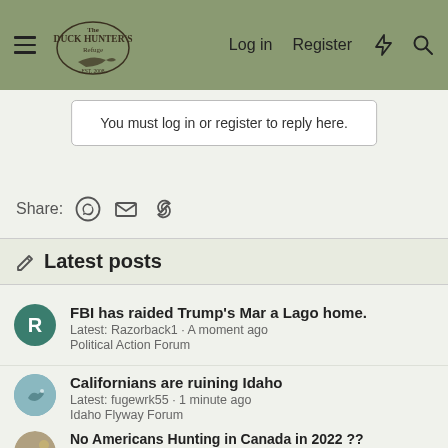Duck Hunter's Refuge — Log in | Register
You must log in or register to reply here.
Share:
Latest posts
FBI has raided Trump's Mar a Lago home. Latest: Razorback1 · A moment ago | Political Action Forum
Californians are ruining Idaho Latest: fugewrk55 · 1 minute ago | Idaho Flyway Forum
No Americans Hunting in Canada in 2022 ?? Latest: Jordan Vizinat · 2 minutes ago | The Duck Hunters Forum